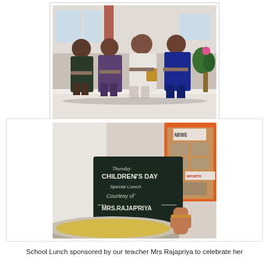[Figure (photo): Four women seated in chairs on what appears to be a veranda or open room, with a plant visible on the right side.]
[Figure (photo): A chalkboard sign reading 'Thursday CHILDREN'S DAY SPECIAL LUNCH Courtesy of MRS. RAJAPRIYA' with a large metal serving bowl of food in the foreground and a bulletin board in the background.]
School Lunch sponsored by our teacher Mrs Rajapriya to celebrate her